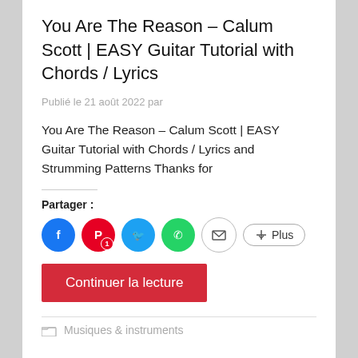You Are The Reason – Calum Scott | EASY Guitar Tutorial with Chords / Lyrics
Publié le 21 août 2022 par
You Are The Reason – Calum Scott | EASY Guitar Tutorial with Chords / Lyrics and Strumming Patterns Thanks for
Partager :
[Figure (other): Social share icons: Facebook, Pinterest (with badge 1), Twitter, WhatsApp, Email, and a Plus button]
Continuer la lecture
Musiques & instruments